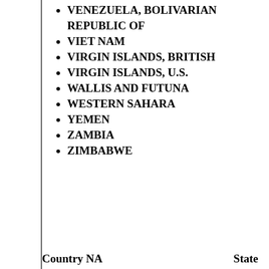VENEZUELA, BOLIVARIAN REPUBLIC OF
VIET NAM
VIRGIN ISLANDS, BRITISH
VIRGIN ISLANDS, U.S.
WALLIS AND FUTUNA
WESTERN SAHARA
YEMEN
ZAMBIA
ZIMBABWE
Country NA    State
---Select a State---
---Select a State---
Alabama
Alaska
American Samoa
Arizona
Arkansas
California
Colorado
Connecticut
Delaware
District of Columbia
Florida